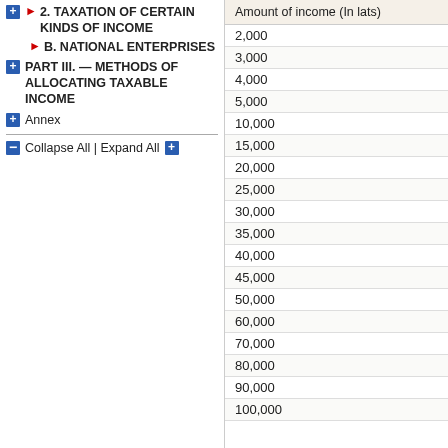2. TAXATION OF CERTAIN KINDS OF INCOME
B. NATIONAL ENTERPRISES
PART III. — METHODS OF ALLOCATING TAXABLE INCOME
Annex
Collapse All | Expand All
| Amount of income (In lats) |
| --- |
| 2,000 |
| 3,000 |
| 4,000 |
| 5,000 |
| 10,000 |
| 15,000 |
| 20,000 |
| 25,000 |
| 30,000 |
| 35,000 |
| 40,000 |
| 45,000 |
| 50,000 |
| 60,000 |
| 70,000 |
| 80,000 |
| 90,000 |
| 100,000 |